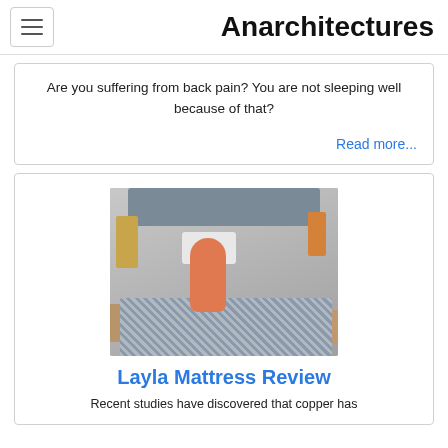Anarchitectures
Are you suffering from back pain? You are not sleeping well because of that?
Read more...
[Figure (photo): Woman in orange outfit sitting on a Layla mattress in a bedroom setting with nightstands and lamps]
Layla Mattress Review
Recent studies have discovered that copper has